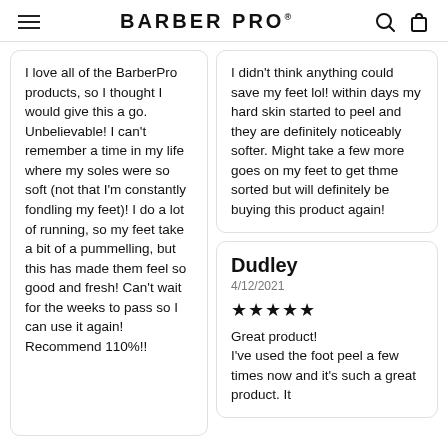BARBER PRO
I love all of the BarberPro products, so I thought I would give this a go. Unbelievable! I can't remember a time in my life where my soles were so soft (not that I'm constantly fondling my feet)! I do a lot of running, so my feet take a bit of a pummelling, but this has made them feel so good and fresh! Can't wait for the weeks to pass so I can use it again! Recommend 110%!!
I didn't think anything could save my feet lol! within days my hard skin started to peel and they are definitely noticeably softer. Might take a few more goes on my feet to get thme sorted but will definitely be buying this product again!
Dudley
4/12/2021
★★★★★
Great product!
I've used the foot peel a few times now and it's such a great product. It